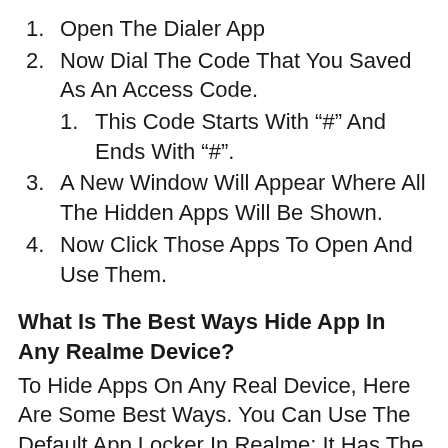1. Open The Dialer App
2. Now Dial The Code That You Saved As An Access Code.
1. This Code Starts With “#” And Ends With “#”.
3. A New Window Will Appear Where All The Hidden Apps Will Be Shown.
4. Now Click Those Apps To Open And Use Them.
What Is The Best Ways Hide App In Any Realme Device?
To Hide Apps On Any Real Device, Here Are Some Best Ways. You Can Use The Default App Locker In Realme; It Has The Functionality To Hide Applications. Second;